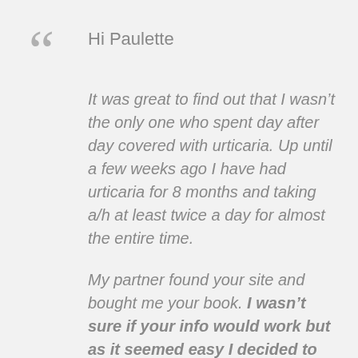[Figure (illustration): Large decorative opening quotation mark in grey]
Hi Paulette
It was great to find out that I wasn't the only one who spent day after day covered with urticaria. Up until a few weeks ago I have had urticaria for 8 months and taking a/h at least twice a day for almost the entire time.
My partner found your site and bought me your book. I wasn't sure if your info would work but as it seemed easy I decided to try & it really is